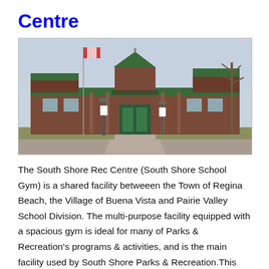Centre
[Figure (photo): Exterior photograph of the South Shore Rec Centre (South Shore School Gym), a brick building with green roof and entrance canopy, flagpole with Canadian flag, and bare trees, taken in winter/early spring.]
The South Shore Rec Centre (South Shore School Gym) is a shared facility betweeen the Town of Regina Beach, the Village of Buena Vista and Pairie Valley School Division. The multi-purpose facility equipped with a spacious gym is ideal for many of Parks & Recreation's programs & activities, and is the main facility used by South Shore Parks & Recreation.This facility is used for most of the community's recreational